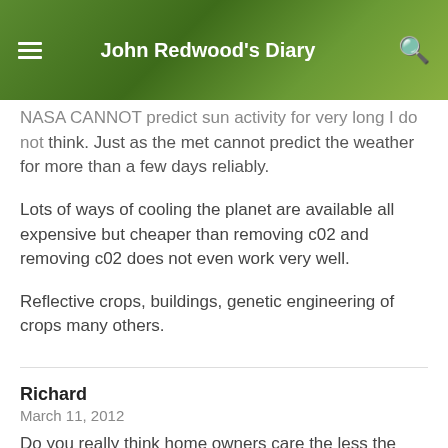John Redwood's Diary
NASA CANNOT predict sun activity for very long I do not think. Just as the met cannot predict the weather for more than a few days reliably.
Lots of ways of cooling the planet are available all expensive but cheaper than removing c02 and removing c02 does not even work very well.
Reflective crops, buildings, genetic engineering of crops many others.
Richard
March 11, 2012
Do you really think home owners care the less the more they